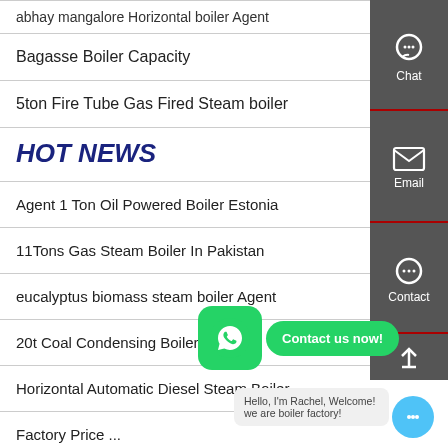abhay mangalore Horizontal boiler Agent
Bagasse Boiler Capacity
5ton Fire Tube Gas Fired Steam boiler
HOT NEWS
Agent 1 Ton Oil Powered Boiler Estonia
11Tons Gas Steam Boiler In Pakistan
eucalyptus biomass steam boiler Agent
20t Coal Condensing Boiler G...
Horizontal Automatic Diesel Steam Boiler
Factory Price ...
2t Biomass Boiler Hot Selling Ukraine
[Figure (screenshot): Right sidebar with Chat, Email, and Contact icons on dark grey background]
[Figure (screenshot): WhatsApp floating button (green) with 'Contact us now!' bubble]
Hello, I'm Rachel, Welcome! we are boiler factory!